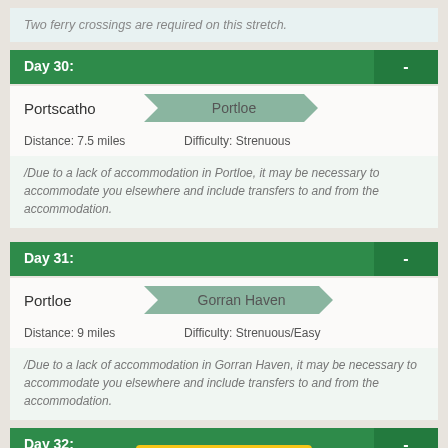Two ferry crossings are required on this stretch.
Day 30:
Portscatho → Portloe
Distance: 7.5 miles   Difficulty: Strenuous
/Due to a lack of accommodation in Portloe, it may be necessary to accommodate you elsewhere and include transfers to and from the accommodation.
Day 31:
Portloe → Gorran Haven
Distance: 9 miles   Difficulty: Strenuous/Easy
/Due to a lack of accommodation in Gorran Haven, it may be necessary to accommodate you elsewhere and include transfers to and from the accommodation.
Day 32:
Gorran Haven
[Figure (logo): Feefo Reviews badge in yellow]